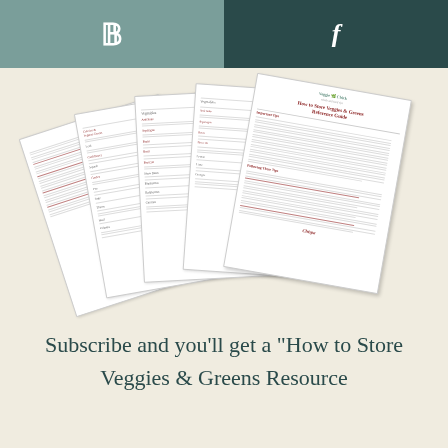Pinterest | Facebook
[Figure (illustration): Fan of five document pages fanned out showing 'How to Store Veggies & Greens Reference Guide' booklet pages with Veggie Chick branding]
Subscribe and you’ll get a “How to Store Veggies & Greens Resource